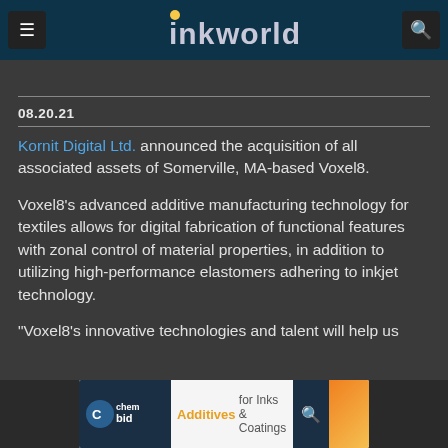ink world
08.20.21
Kornit Digital Ltd. announced the acquisition of all associated assets of Somerville, MA-based Voxel8.
Voxel8’s advanced additive manufacturing technology for textiles allows for digital fabrication of functional features with zonal control of material properties, in addition to utilizing high-performance elastomers adhering to inkjet technology.
“Voxel8’s innovative technologies and talent will help us
[Figure (screenshot): Advertisement banner for Chembid: Additives for Inks & Coatings]